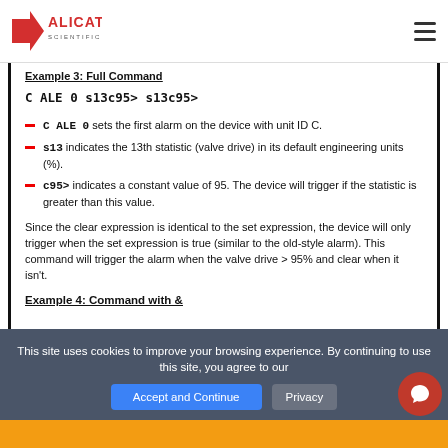Alicat Scientific
Example 3: Full Command
C ALE 0 s13c95> s13c95>
C ALE 0 sets the first alarm on the device with unit ID C.
s13 indicates the 13th statistic (valve drive) in its default engineering units (%).
c95> indicates a constant value of 95. The device will trigger if the statistic is greater than this value.
Since the clear expression is identical to the set expression, the device will only trigger when the set expression is true (similar to the old-style alarm). This command will trigger the alarm when the valve drive > 95% and clear when it isn't.
Example 4: Command with &
This site uses cookies to improve your browsing experience. By continuing to use this site, you agree to our Privacy Accept and Continue